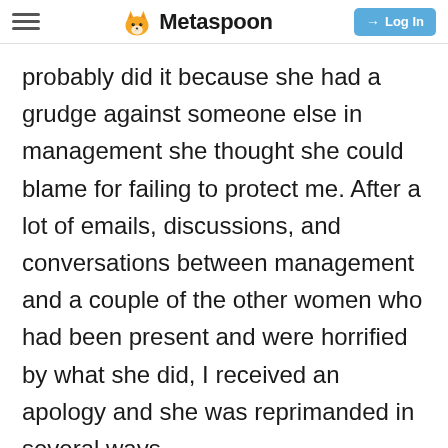Metaspoon | Log In
probably did it because she had a grudge against someone else in management she thought she could blame for failing to protect me. After a lot of emails, discussions, and conversations between management and a couple of the other women who had been present and were horrified by what she did, I received an apology and she was reprimanded in several ways.